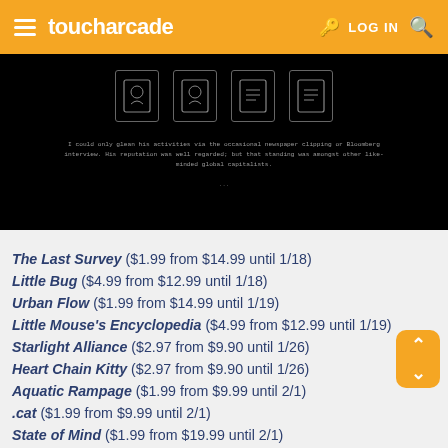toucharcade  LOG IN
[Figure (screenshot): Game screenshot showing a dark/black background with framed card icons at the top and white text reading: 'I could only glean his activities via the occasional newspaper clipping or Bloomberg interview. His reputation was well regarded; but that standing was amongst other like-minded global capitalists.']
The Last Survey ($1.99 from $14.99 until 1/18)
Little Bug ($4.99 from $12.99 until 1/18)
Urban Flow ($1.99 from $14.99 until 1/19)
Little Mouse's Encyclopedia ($4.99 from $12.99 until 1/19)
Starlight Alliance ($2.97 from $9.90 until 1/26)
Heart Chain Kitty ($2.97 from $9.90 until 1/26)
Aquatic Rampage ($1.99 from $9.99 until 2/1)
.cat ($1.99 from $9.99 until 2/1)
State of Mind ($1.99 from $19.99 until 2/1)
Sil... ($1.99 from $19.99 until 2/1)